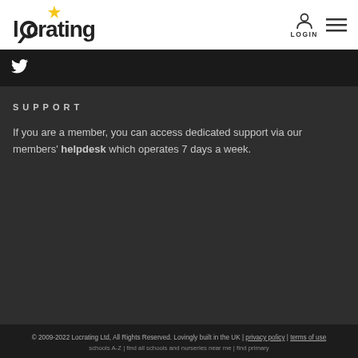Locrating LOGIN
[Figure (logo): Locrating logo with magnifying glass and gold star]
[Figure (illustration): Twitter bird icon in white on dark background]
SUPPORT
If you are a member, you can access dedicated support via our members' helpdesk which operates 7 days a week.
© 2009-2022 Locrating Ltd, All Rights Reserved. Lovingly built in the UK | privacy policy | terms of use
schools A-Z | find all schools and nurseries near me | find primary